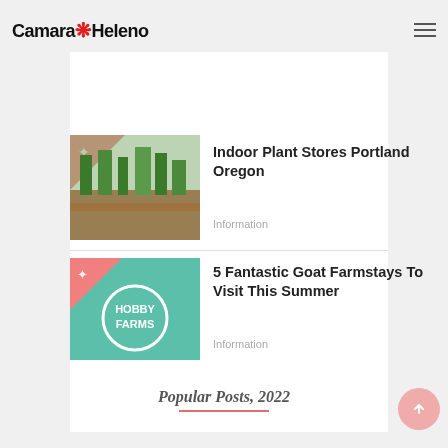Camara Heleno
[Figure (photo): Partial top image of green plants/farm, cropped at top of page]
[Figure (photo): Indoor plant store thumbnail image with pink corner overlay and star icon]
Indoor Plant Stores Portland Oregon
Information
[Figure (illustration): Teal square thumbnail with 'HOBBY FARMS' text in a white circle, pink corner with star icon]
5 Fantastic Goat Farmstays To Visit This Summer
Information
Popular Posts, 2022